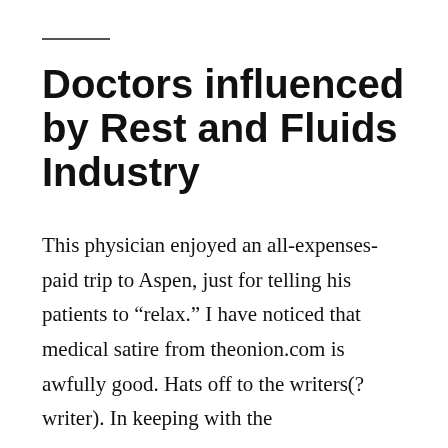Doctors influenced by Rest and Fluids Industry
This physician enjoyed an all-expenses-paid trip to Aspen, just for telling his patients to “relax.” I have noticed that medical satire from theonion.com is awfully good. Hats off to the writers(?writer). In keeping with the